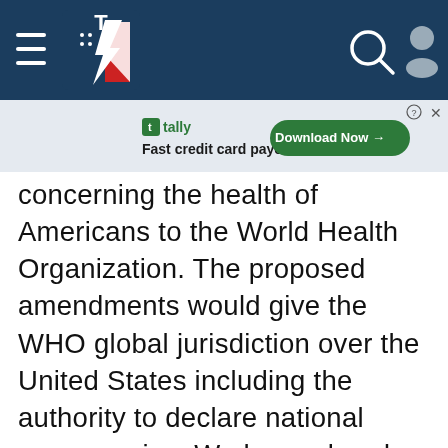[Figure (screenshot): Website navigation header bar with dark navy blue background, hamburger menu icon, stylized lightning bolt logo with American flag design, search icon (magnifying glass), and user/profile icon on the right]
[Figure (screenshot): Advertisement banner for 'Tally - Fast credit card payoff' with a green 'Download Now' button, close and info icons in top right]
concerning the health of Americans to the World Health Organization. The proposed amendments would give the WHO global jurisdiction over the United States including the authority to declare national emergencies. We have already seen the lawless abuse of power under Joe Biden by the Centers for